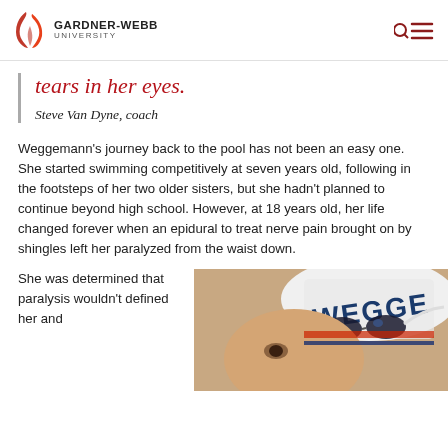GARDNER-WEBB UNIVERSITY
tears in her eyes.
Steve Van Dyne, coach
Weggemann's journey back to the pool has not been an easy one. She started swimming competitively at seven years old, following in the footsteps of her two older sisters, but she hadn't planned to continue beyond high school. However, at 18 years old, her life changed forever when an epidural to treat nerve pain brought on by shingles left her paralyzed from the waist down.
She was determined that paralysis wouldn't defined her and
[Figure (photo): Close-up photo of a swimmer wearing a white swim cap with 'WEGGE' visible, and swim goggles on top of her head.]